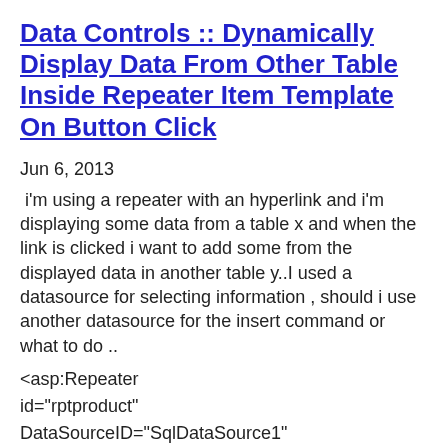Data Controls :: Dynamically Display Data From Other Table Inside Repeater Item Template On Button Click
Jun 6, 2013
i'm using a repeater with an hyperlink and i'm displaying some data from a table x and when the link is clicked i want to add some from the displayed data in another table y..I used a datasource for selecting information , should i use another datasource for the insert command or what to do ..
<asp:Repeater
id="rptproduct"
DataSourceID="SqlDataSource1"
Runat="server">
<ItemTemplate>
<asp:label
id="labCode"
[code]....
View 1 Replies